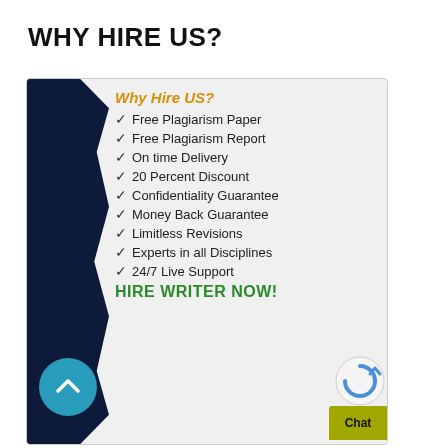WHY HIRE US?
Why Hire US?
Free Plagiarism Paper
Free Plagiarism Report
On time Delivery
20 Percent Discount
Confidentiality Guarantee
Money Back Guarantee
Limitless Revisions
Experts in all Disciplines
24/7 Live Support
HIRE WRITER NOW!